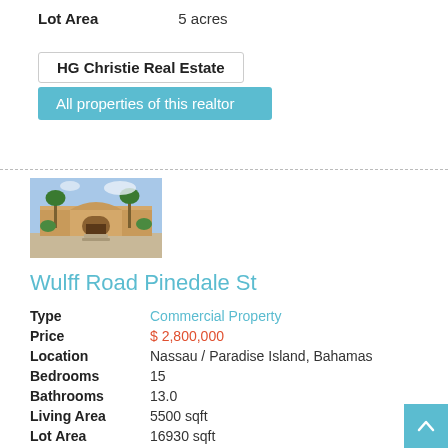Lot Area   5 acres
HG Christie Real Estate
All properties of this realtor
[Figure (photo): Exterior photo of a commercial building with palm trees and archway entrance]
Wulff Road Pinedale St
Type   Commercial Property
Price   $ 2,800,000
Location   Nassau / Paradise Island, Bahamas
Bedrooms   15
Bathrooms   13.0
Living Area   5500 sqft
Lot Area   16930 sqft